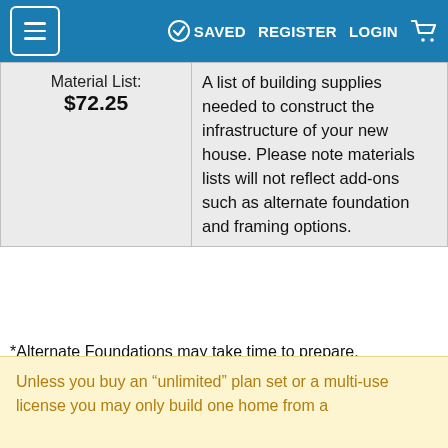≡  ✓ SAVED  REGISTER  LOGIN  🛒
| Material List: | Description |
| --- | --- |
| $72.25 | A list of building supplies needed to construct the infrastructure of your new house. Please note materials lists will not reflect add-ons such as alternate foundation and framing options. |
*Alternate Foundations may take time to prepare.
*Options with a fee may take time to prepare. Please call to confirm.
Unless you buy an “unlimited” plan set or a multi-use license you may only build one home from a